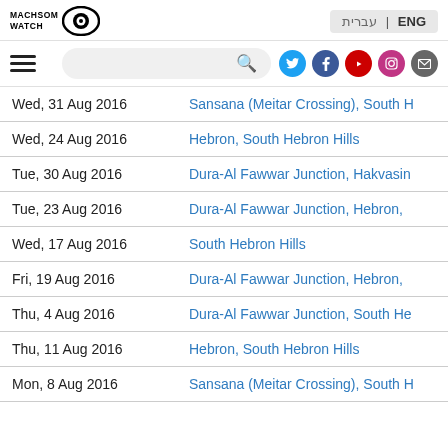[Figure (logo): Machsom Watch logo with eye icon]
עברית | ENG
Navigation bar with hamburger menu, search box, and social icons (Twitter, Facebook, YouTube, Instagram, Email)
| Date | Location |
| --- | --- |
| Wed, 31 Aug 2016 | Sansana (Meitar Crossing), South H... |
| Wed, 24 Aug 2016 | Hebron, South Hebron Hills |
| Tue, 30 Aug 2016 | Dura-Al Fawwar Junction, Hakvasin... |
| Tue, 23 Aug 2016 | Dura-Al Fawwar Junction, Hebron,... |
| Wed, 17 Aug 2016 | South Hebron Hills |
| Fri, 19 Aug 2016 | Dura-Al Fawwar Junction, Hebron,... |
| Thu, 4 Aug 2016 | Dura-Al Fawwar Junction, South He... |
| Thu, 11 Aug 2016 | Hebron, South Hebron Hills |
| Mon, 8 Aug 2016 | Sansana (Meitar Crossing), South H... |